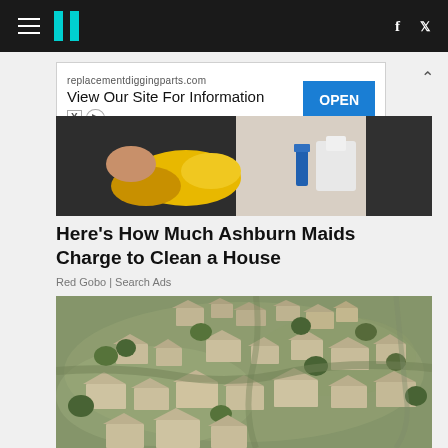HuffPost navigation bar with hamburger menu, logo, facebook and twitter icons
[Figure (infographic): Advertisement banner: replacementdiggingparts.com - View Our Site For Information - OPEN button]
[Figure (photo): Partial photo of person wearing yellow rubber gloves, cleaning]
Here's How Much Ashburn Maids Charge to Clean a House
Red Gobo | Search Ads
[Figure (photo): Aerial view of a flooded village with muddy brown water surrounding small structures and trees]